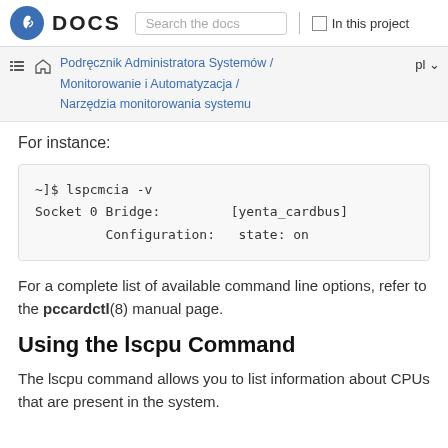DOCS | Search the docs | In this project
Podręcznik Administratora Systemów / Monitorowanie i Automatyzacja / Narzędzia monitorowania systemu
For instance:
~]$ lspcmcia -v
Socket 0 Bridge:         [yenta_cardbus]
         Configuration:   state: on
For a complete list of available command line options, refer to the pccardctl(8) manual page.
Using the lscpu Command
The lscpu command allows you to list information about CPUs that are present in the system.